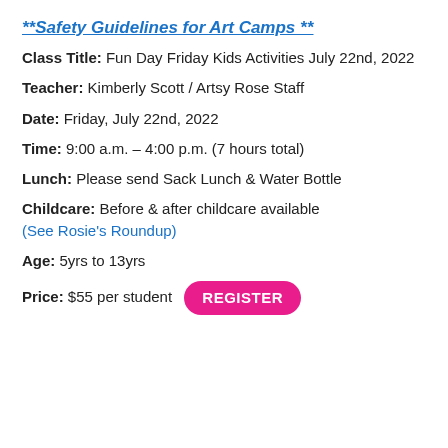**Safety Guidelines for Art Camps **
Class Title: Fun Day Friday Kids Activities July 22nd, 2022
Teacher: Kimberly Scott / Artsy Rose Staff
Date: Friday, July 22nd, 2022
Time: 9:00 a.m. – 4:00 p.m. (7 hours total)
Lunch: Please send Sack Lunch & Water Bottle
Childcare: Before & after childcare available (See Rosie's Roundup)
Age: 5yrs to 13yrs
Price: $55 per student REGISTER